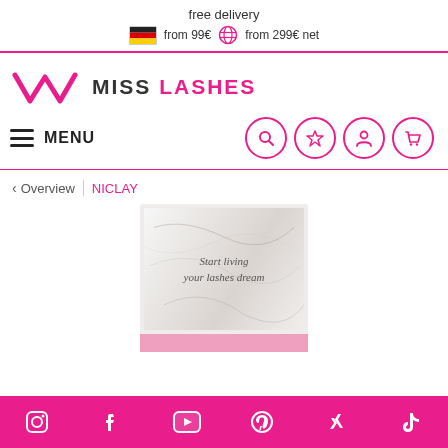free delivery
🇩🇪 from 99€ 🌐 from 299€ net
[Figure (logo): Miss Lashes logo with pink W/M chevron shape and text MISS LASHES]
MENU
< Overview | NICLAY
[Figure (photo): Product image showing a Miss Lashes box with marble pattern and text 'Start living your lashes dream' and eyelash product visible below]
Social media icons: Instagram, Facebook, YouTube, Pinterest, Xing, TikTok